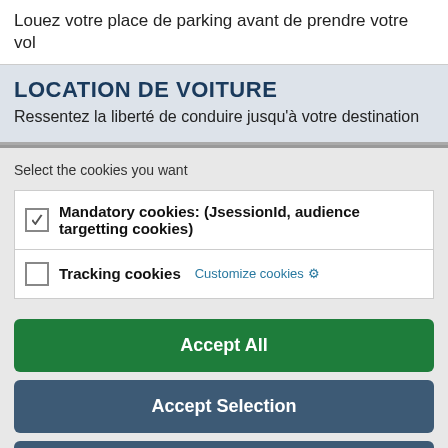Louez votre place de parking avant de prendre votre vol
LOCATION DE VOITURE
Ressentez la liberté de conduire jusqu'à votre destination
Select the cookies you want
Mandatory cookies: (JsessionId, audience targetting cookies)
Tracking cookies  Customize cookies
Accept All
Accept Selection
Only Mandatory